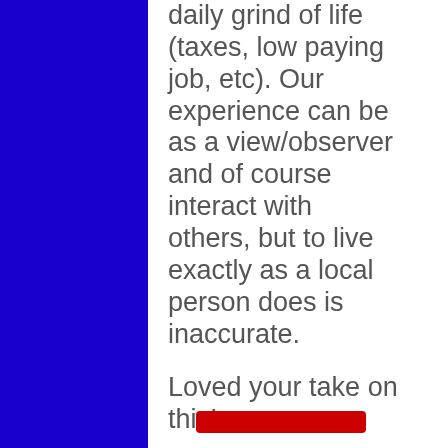daily grind of life (taxes, low paying job, etc). Our experience can be as a view/observer and of course interact with others, but to live exactly as a local person does is inaccurate.
Loved your take on this!